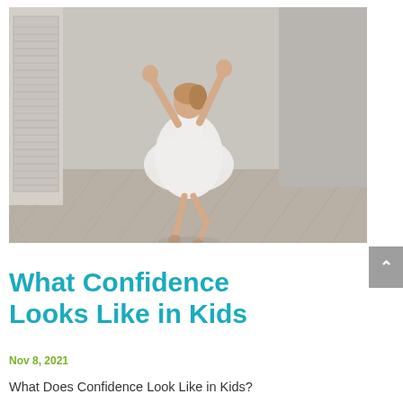[Figure (photo): A young girl in a white dress dancing joyfully with arms raised in a light grey room with wooden herringbone floor and shuttered door on the left.]
What Confidence Looks Like in Kids
Nov 8, 2021
What Does Confidence Look Like in Kids?